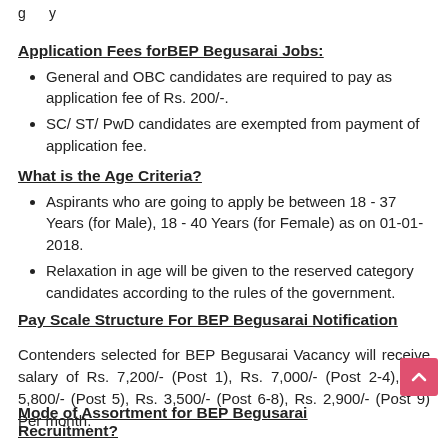Application Fees forBEP Begusarai Jobs:
General and OBC candidates are required to pay as application fee of Rs. 200/-.
SC/ ST/ PwD candidates are exempted from payment of application fee.
What is the Age Criteria?
Aspirants who are going to apply be between 18 - 37 Years (for Male), 18 - 40 Years (for Female) as on 01-01-2018.
Relaxation in age will be given to the reserved category candidates according to the rules of the government.
Pay Scale Structure For BEP Begusarai Notification
Contenders selected for BEP Begusarai Vacancy will receive salary of Rs. 7,200/- (Post 1), Rs. 7,000/- (Post 2-4), Rs. 5,800/- (Post 5), Rs. 3,500/- (Post 6-8), Rs. 2,900/- (Post 9) Per month.
Mode of Assortment for BEP Begusarai Recruitment?